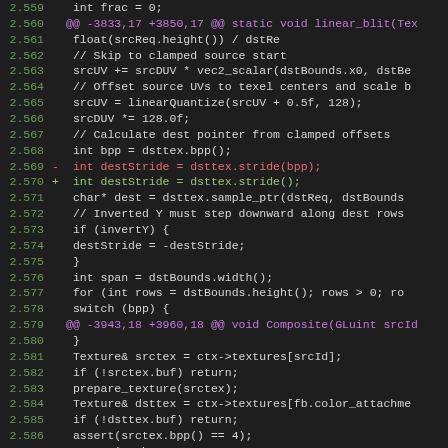[Figure (screenshot): Code diff view showing changes to linear_blit and Composite functions in a C++ file, with line numbers 2.559-2.590, removed lines in red, added lines in green, and hunk headers in magenta/purple.]